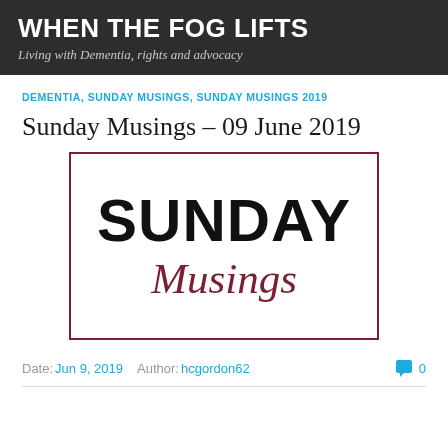WHEN THE FOG LIFTS
Living with Dementia, rights and advocacy
DEMENTIA, SUNDAY MUSINGS, SUNDAY MUSINGS 2019
Sunday Musings – 09 June 2019
[Figure (illustration): Bordered box with 'SUNDAY' in large bold black text and 'Musings' in large dark red italic serif font below it]
Date: Jun 9, 2019  Author: hcgordon62  0